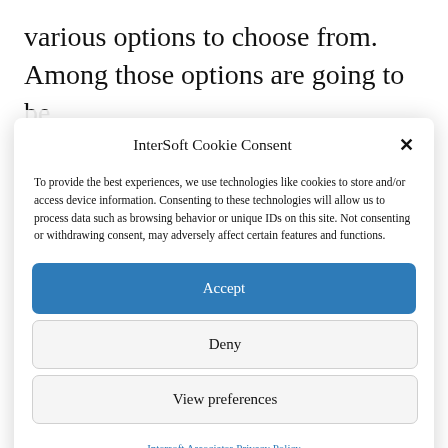various options to choose from. Among those options are going to be
InterSoft Cookie Consent
To provide the best experiences, we use technologies like cookies to store and/or access device information. Consenting to these technologies will allow us to process data such as browsing behavior or unique IDs on this site. Not consenting or withdrawing consent, may adversely affect certain features and functions.
Accept
Deny
View preferences
Intersoft Associates Privacy Policy